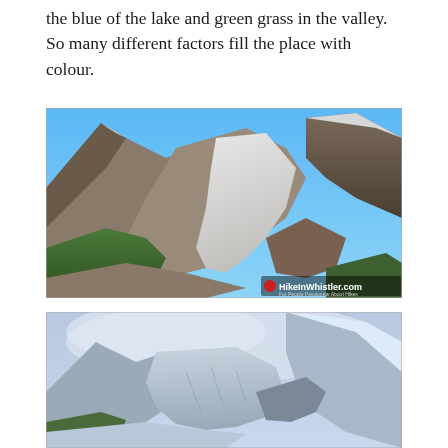the blue of the lake and green grass in the valley.  So many different factors fill the place with colour.
[Figure (photo): Aerial view of a mountain glacier descending between rocky peaks with green forest in the lower slopes. A watermark reads 'HikeInWhistler.com' in the lower right corner.]
[Figure (photo): Snow-covered mountain peaks with a glacier field in the foreground, partially obscured by low clouds, with green trees visible at the bottom edge.]